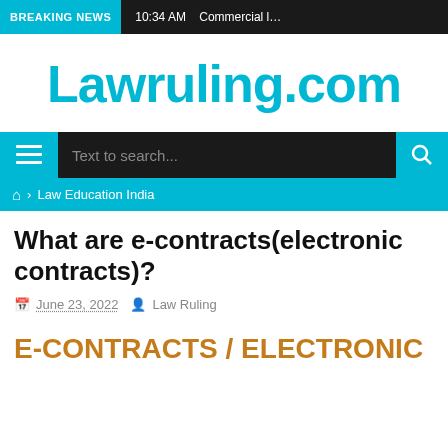BREAKING NEWS   10:34 AM   Commercial l...
Lawruling.com
Text to search...
Law Education India
What are e-contracts(electronic contracts)?
June 23, 2022   Law Ruling
E-CONTRACTS / ELECTRONIC